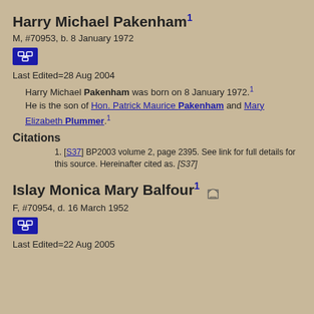Harry Michael Pakenham1
M, #70953, b. 8 January 1972
Last Edited=28 Aug 2004
Harry Michael Pakenham was born on 8 January 1972.1 He is the son of Hon. Patrick Maurice Pakenham and Mary Elizabeth Plummer.1
Citations
[S37] BP2003 volume 2, page 2395. See link for full details for this source. Hereinafter cited as. [S37]
Islay Monica Mary Balfour1
F, #70954, d. 16 March 1952
Last Edited=22 Aug 2005